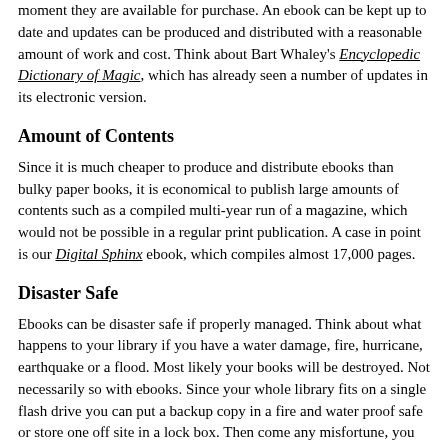moment they are available for purchase. An ebook can be kept up to date and updates can be produced and distributed with a reasonable amount of work and cost. Think about Bart Whaley's Encyclopedic Dictionary of Magic, which has already seen a number of updates in its electronic version.
Amount of Contents
Since it is much cheaper to produce and distribute ebooks than bulky paper books, it is economical to publish large amounts of contents such as a compiled multi-year run of a magazine, which would not be possible in a regular print publication. A case in point is our Digital Sphinx ebook, which compiles almost 17,000 pages.
Disaster Safe
Ebooks can be disaster safe if properly managed. Think about what happens to your library if you have a water damage, fire, hurricane, earthquake or a flood. Most likely your books will be destroyed. Not necessarily so with ebooks. Since your whole library fits on a single flash drive you can put a backup copy in a fire and water proof safe or store one off site in a lock box. Then come any misfortune, you will still have your ebook library. This is quite an advantage to consider, particularly if your library has a value in the thousands of dollars.
The Cons
To be frank, in my opinion there are not many cons for ebooks. There